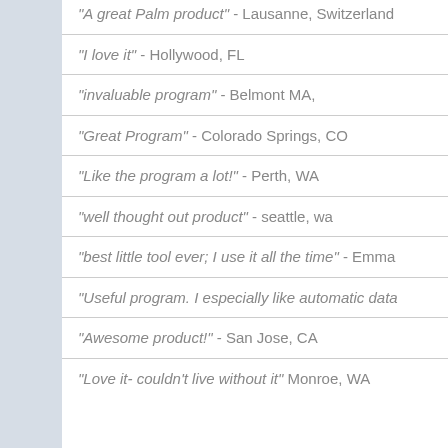"A great Palm product" - Lausanne, Switzerland
"I love it" - Hollywood, FL
"invaluable program" - Belmont MA,
"Great Program" - Colorado Springs, CO
"Like the program a lot!" - Perth, WA
"well thought out product" - seattle, wa
"best little tool ever; I use it all the time" - Emma
"Useful program. I especially like automatic data
"Awesome product!" - San Jose, CA
"Love it- couldn't live without it" Monroe, WA